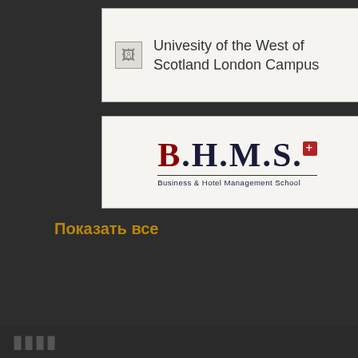[Figure (logo): University of the West of Scotland London Campus card with broken image icon and text]
[Figure (logo): B.H.M.S. Business & Hotel Management School logo card with dark red and navy serif lettering and Swiss cross symbol]
Показать все